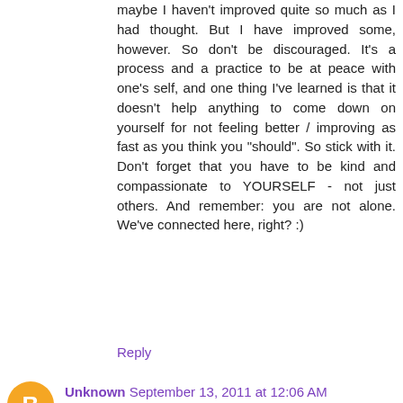maybe I haven't improved quite so much as I had thought. But I have improved some, however. So don't be discouraged. It's a process and a practice to be at peace with one's self, and one thing I've learned is that it doesn't help anything to come down on yourself for not feeling better / improving as fast as you think you "should". So stick with it. Don't forget that you have to be kind and compassionate to YOURSELF - not just others. And remember: you are not alone. We've connected here, right? :)
Reply
[Figure (illustration): Orange circle avatar with white blogger 'B' icon]
Unknown September 13, 2011 at 12:06 AM
On of my favorite quotes from the movie "The Drifter" is ..."Sometimes when you're most alone... you're not alone at all" .. Sometimes I choose to be alone because I think its a safer place to be.. or is it? I am learning, the road ahead is evolving thanks in part to my recent stumble on your blog. I asked for guidance and although friends I have known for years give me words of wisdom,it feels better when it comes from someone who has worn the same shoes.